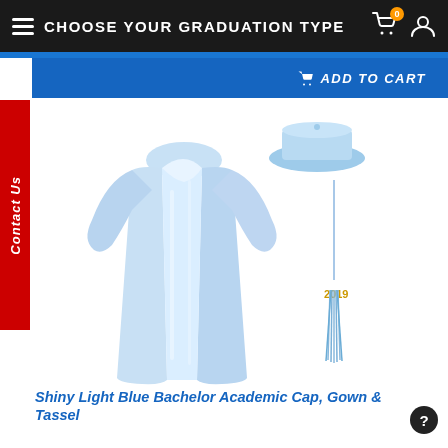CHOOSE YOUR GRADUATION TYPE
ADD TO CART
Contact Us
[Figure (photo): Shiny light blue graduation gown, mortarboard cap, and tassel with gold year charm displayed on white background]
Shiny Light Blue Bachelor Academic Cap, Gown & Tassel